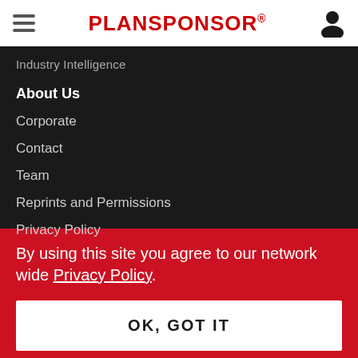PLANSPONSOR
Industry Intelligence
About Us
Corporate
Contact
Team
Reprints and Permissions
Privacy Policy
By using this site you agree to our network wide Privacy Policy.
OK, GOT IT